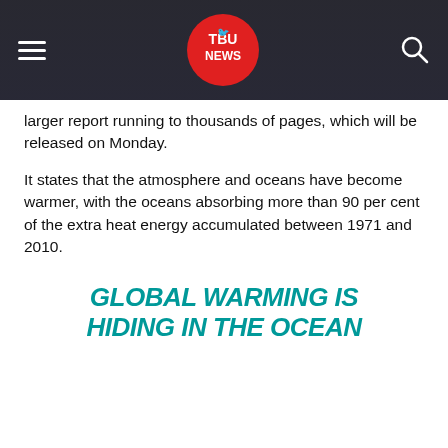TBU NEWS
larger report running to thousands of pages, which will be released on Monday.
It states that the atmosphere and oceans have become warmer, with the oceans absorbing more than 90 per cent of the extra heat energy accumulated between 1971 and 2010.
GLOBAL WARMING IS HIDING IN THE OCEAN
This website uses Cookies. Do you accept our Privacy Policy?